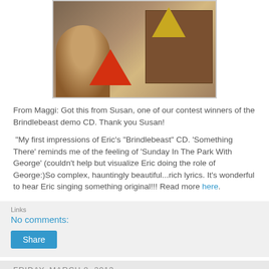[Figure (photo): Photo of a person with awards/plaques and origami decorations on a wooden surface]
From Maggi: Got this from Susan, one of our contest winners of the Brindlebeast demo CD. Thank you Susan!
"My first impressions of Eric's "Brindlebeast" CD. 'Something There' reminds me of the feeling of 'Sunday In The Park With George' (couldn't help but visualize Eric doing the role of George:)So complex, hauntingly beautiful...rich lyrics. It's wonderful to hear Eric singing something original!!! Read more here.
No comments:
Share
Friday, March 8, 2013
BWW Reviews It's Complicated